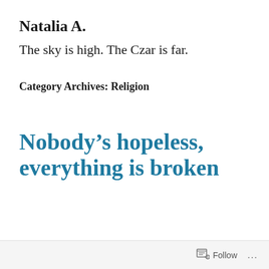Natalia A.
The sky is high. The Czar is far.
Category Archives: Religion
Nobody’s hopeless, everything is broken
Follow …